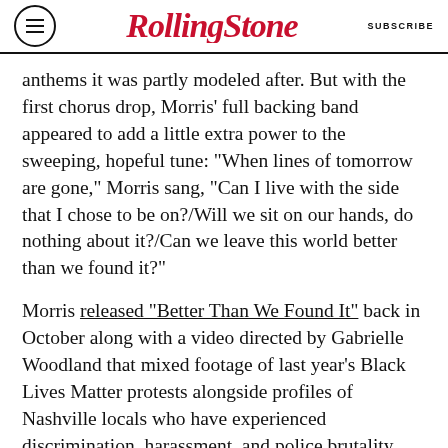RollingStone | SUBSCRIBE
anthems it was partly modeled after. But with the first chorus drop, Morris’ full backing band appeared to add a little extra power to the sweeping, hopeful tune: “When lines of tomorrow are gone,” Morris sang, “Can I live with the side that I chose to be on?/Will we sit on our hands, do nothing about it?/Can we leave this world better than we found it?”
Morris released “Better Than We Found It” back in October along with a video directed by Gabrielle Woodland that mixed footage of last year’s Black Lives Matter protests alongside profiles of Nashville locals who have experienced discrimination, harassment, and police brutality.
Morris released her most recent album, Girl, in